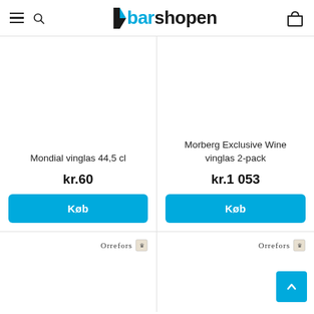barshopen
Mondial vinglas 44,5 cl
kr.60
Køb
Morberg Exclusive Wine vinglas 2-pack
kr.1 053
Køb
[Figure (logo): Orrefors brand logo with crown emblem]
[Figure (logo): Orrefors brand logo with crown emblem]